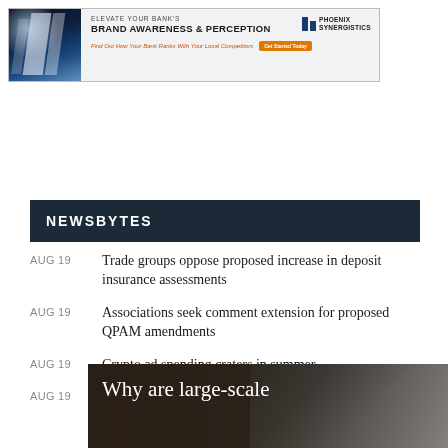[Figure (infographic): Banner advertisement for Phoenix Synergistics. Text: ELEVATE YOUR BANK'S BRAND AWARENESS & PERCEPTION. Find Out How Your Bank Ranks With Your Local Competitors. Get Started Today.]
NEWSBYTES
AUG 19 — Trade groups oppose proposed increase in deposit insurance assessments
AUG 19 — Associations seek comment extension for proposed QPAM amendments
AUG 19 — Crypto ad spending craters in summer
AUG 19 — FDIC alleges five crypto companies misled on deposit insurance
[Figure (photo): Dark background image with white text: Why are large-scale]